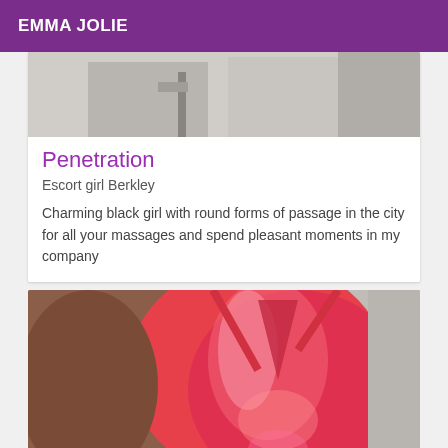EMMA JOLIE
[Figure (photo): Partial view of a room interior, upper portion cropped, showing walls and a door or fixture.]
Penetration
Escort girl Berkley
Charming black girl with round forms of passage in the city for all your massages and spend pleasant moments in my company
[Figure (photo): Close-up photo of a woman wearing a pink/red satin outfit, cropped view showing torso.]